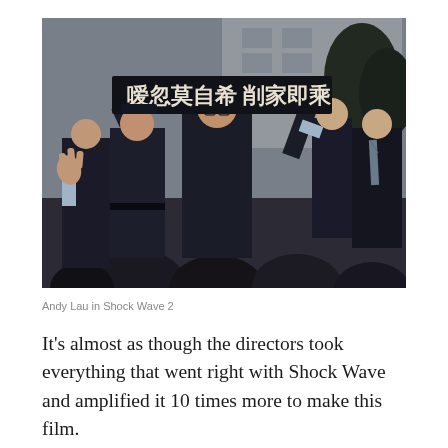[Figure (photo): Scene from the film Shock Wave 2 showing Andy Lau in police uniform holding up a black banner with Chinese characters, surrounded by other men in dark suits and uniforms, with buildings and trees in the background.]
Andy Lau in Shock Wave 2
It’s almost as though the directors took everything that went right with Shock Wave and amplified it 10 times more to make this film.